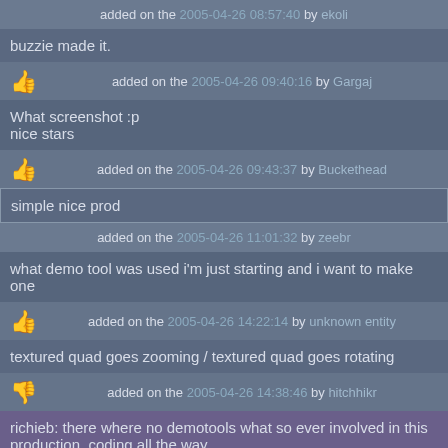added on the 2005-04-26 08:57:40 by ekoli
buzzie made it.
added on the 2005-04-26 09:40:16 by Gargaj
What screenshot :p
nice stars
added on the 2005-04-26 09:43:37 by Buckethead
simple nice prod
added on the 2005-04-26 11:01:32 by zeebr
what demo tool was used i'm just starting and i want to make one
added on the 2005-04-26 14:22:14 by unknown entity
textured quad goes zooming / textured quad goes rotating
added on the 2005-04-26 14:38:46 by hitchhikr
richieb: there where no demotools what so ever involved in this production. coding all the way...